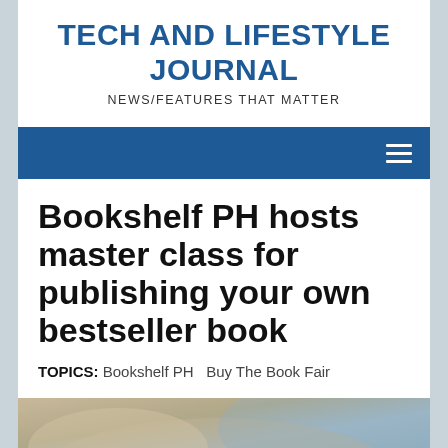TECH AND LIFESTYLE JOURNAL
NEWS/FEATURES THAT MATTER
Bookshelf PH hosts master class for publishing your own bestseller book
TOPICS: Bookshelf PH  Buy The Book Fair
[Figure (photo): Close-up photo of books or book-related items, partially visible at the bottom of the page]